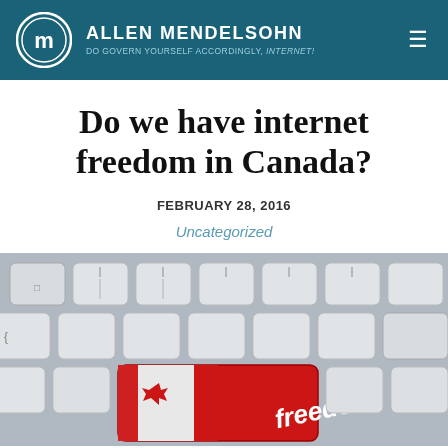ALLEN MENDELSOHN — DO GOVERN YOURSELF ACCORDINGLY, INTERNET!
Do we have internet freedom in Canada?
FEBRUARY 28, 2016
Uncategorized
[Figure (photo): A computer keyboard with a red key labeled 'freedom' featuring a Canadian maple leaf flag design, surrounded by standard white/grey keys.]